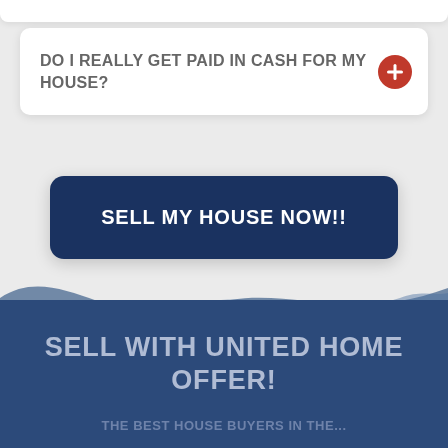DO I REALLY GET PAID IN CASH FOR MY HOUSE?
SELL MY HOUSE NOW!!
SELL WITH UNITED HOME OFFER!
The Best House Buyers in the...